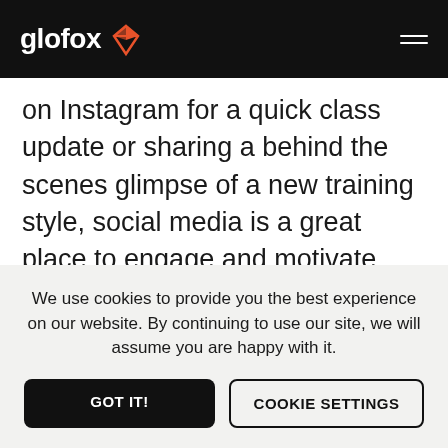glofox
on Instagram for a quick class update or sharing a behind the scenes glimpse of a new training style, social media is a great place to engage and motivate your audience. If you're an employee for a gym, they will likely be in charge of the overall marketing strategy. However, you will play a role in posting
We use cookies to provide you the best experience on our website. By continuing to use our site, we will assume you are happy with it.
GOT IT!
COOKIE SETTINGS